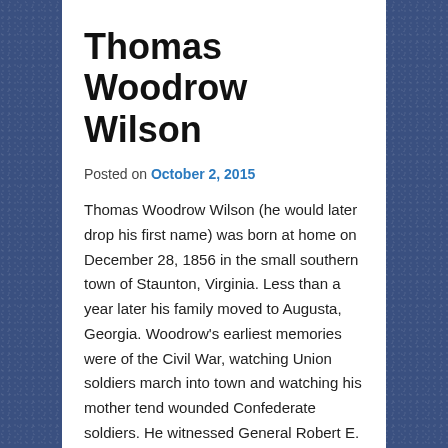Thomas Woodrow Wilson
Posted on October 2, 2015
Thomas Woodrow Wilson (he would later drop his first name) was born at home on December 28, 1856 in the small southern town of Staunton, Virginia. Less than a year later his family moved to Augusta, Georgia. Woodrow's earliest memories were of the Civil War, watching Union soldiers march into town and watching his mother tend wounded Confederate soldiers. He witnessed General Robert E. Lee pass through town under Union guard after surrendering at Appomattox Court House in Virginia. He saw the poverty and destruction of war and its aftermath. Wilson's father was a Presbyterian minister and served as Pastor of several congregations and taught Theology at Columbia Theological Seminary. Because of the war's disruption Woodrow's early education came